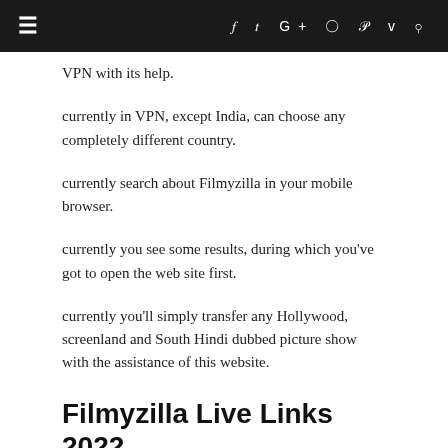≡  f  t  G+  ○  p  v  🔍
VPN with its help.
currently in VPN, except India, can choose any completely different country.
currently search about Filmyzilla in your mobile browser.
currently you see some results, during which you've got to open the web site first.
currently you'll simply transfer any Hollywood, screenland and South Hindi dubbed picture show with the assistance of this website.
Filmyzilla Live Links 2022